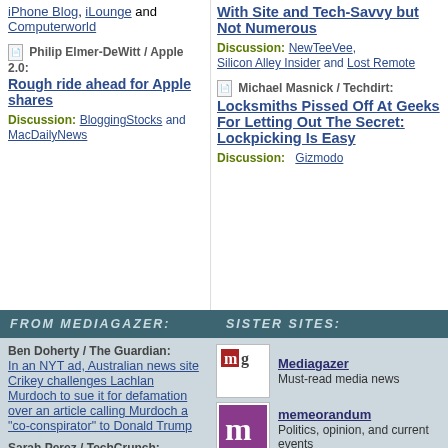iPhone Blog, iLounge and Computerworld
Philip Elmer-DeWitt / Apple 2.0: Rough ride ahead for Apple shares
Discussion: BloggingStocks and MacDailyNews
With Site and Tech-Savvy but Not Numerous
Discussion: NewTeeVee, Silicon Alley Insider and Lost Remote
Michael Masnick / Techdirt: Locksmiths Pissed Off At Geeks For Letting Out The Secret: Lockpicking Is Easy
Discussion: Gizmodo
FROM MEDIAGAZER:
SISTER SITES:
Ben Doherty / The Guardian: In an NYT ad, Australian news site Crikey challenges Lachlan Murdoch to sue it for defamation over an article calling Murdoch a "co-conspirator" to Donald Trump
Sarah Perez / TechCrunch: YouTube launches a dedicated podcasts homepage in the US,
Mediagazer - Must-read media news
memeorandum - Politics, opinion, and current events
WeSmirch - Celebrity news and gossip